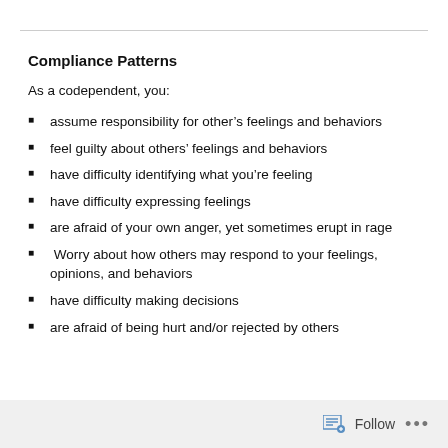Compliance Patterns
As a codependent, you:
assume responsibility for other's feelings and behaviors
feel guilty about others' feelings and behaviors
have difficulty identifying what you're feeling
have difficulty expressing feelings
are afraid of your own anger, yet sometimes erupt in rage
Worry about how others may respond to your feelings, opinions, and behaviors
have difficulty making decisions
are afraid of being hurt and/or rejected by others
Follow ...